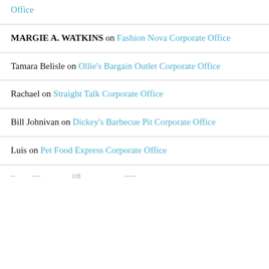Office (link, partial top)
MARGIE A. WATKINS on Fashion Nova Corporate Office
Tamara Belisle on Ollie's Bargain Outlet Corporate Office
Rachael on Straight Talk Corporate Office
Bill Johnivan on Dickey's Barbecue Pit Corporate Office
Luis on Pet Food Express Corporate Office
(partial entry cut off at bottom)